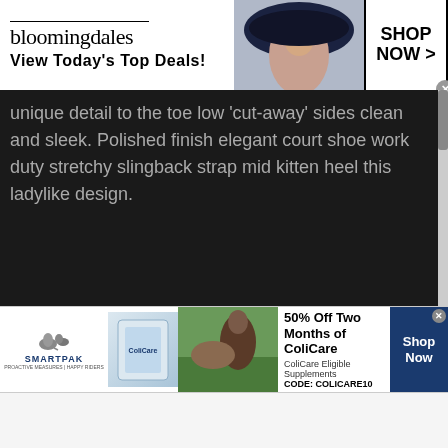[Figure (screenshot): Bloomingdales advertisement banner: logo with 'bloomingdales', tagline 'View Today's Top Deals!', model image, and 'SHOP NOW >' button]
unique detail to the toe low 'cut-away' sides clean and sleek. Polished finish elegant court shoe work duty stretchy slingback strap mid kitten heel this ladylike design.
[Figure (photo): Gray placeholder image area with image icon in center]
[Figure (screenshot): SmartPak advertisement: logo with horse, product image, horse with rider photo, '50% Off Two Months of ColiCare, ColiCare Eligible Supplements CODE: COLICARE10', Shop Now button]